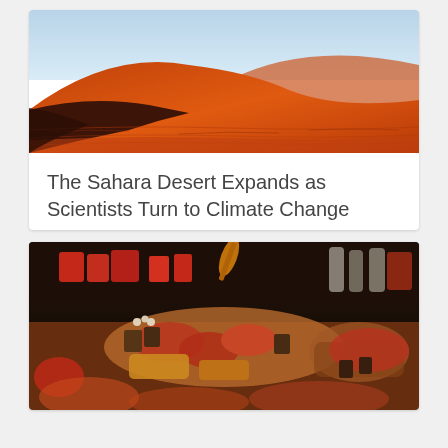[Figure (photo): Aerial or ground-level view of Sahara desert sand dunes with orange-red sands and blue sky]
The Sahara Desert Expands as Scientists Turn to Climate Change
[Figure (photo): Close-up of a food market or charcuterie display with meats, cheeses, crackers, red containers and various foods in baskets]